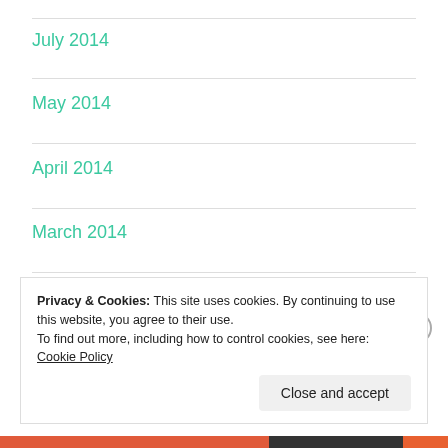July 2014
May 2014
April 2014
March 2014
February 2014
Privacy & Cookies: This site uses cookies. By continuing to use this website, you agree to their use.
To find out more, including how to control cookies, see here: Cookie Policy
Close and accept